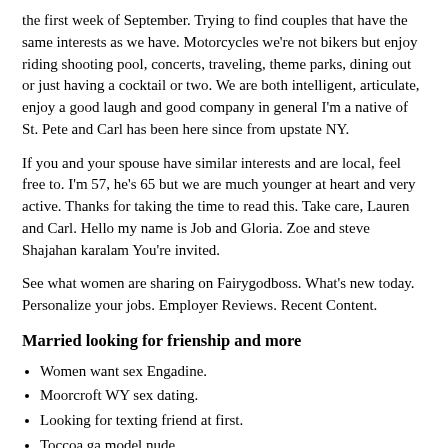the first week of September. Trying to find couples that have the same interests as we have. Motorcycles we're not bikers but enjoy riding shooting pool, concerts, traveling, theme parks, dining out or just having a cocktail or two. We are both intelligent, articulate, enjoy a good laugh and good company in general I'm a native of St. Pete and Carl has been here since from upstate NY.
If you and your spouse have similar interests and are local, feel free to. I'm 57, he's 65 but we are much younger at heart and very active. Thanks for taking the time to read this. Take care, Lauren and Carl. Hello my name is Job and Gloria. Zoe and steve Shajahan karalam You're invited.
See what women are sharing on Fairygodboss. What's new today. Personalize your jobs. Employer Reviews. Recent Content.
Married looking for frienship and more
Women want sex Engadine.
Moorcroft WY sex dating.
Looking for texting friend at first.
Toccoa ga model nude.
Sex personals free Howlong.
Only Columbus fuck.
Horny milf Ponce.
Women looking real sex Rockville.